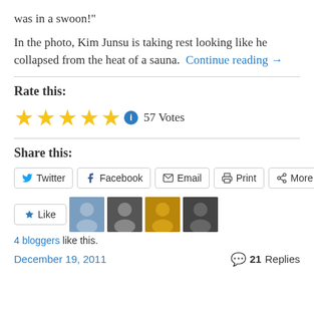was in a swoon!"
In the photo, Kim Junsu is taking rest looking like he collapsed from the heat of a sauna.  Continue reading →
Rate this:
★★★★★ ℹ 57 Votes
Share this:
Twitter  Facebook  Email  Print  More
Like  [4 blogger avatars]
4 bloggers like this.
December 19, 2011   💬 21 Replies